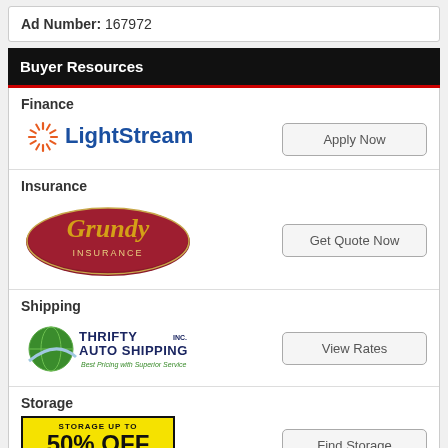Ad Number: 167972
Buyer Resources
Finance
[Figure (logo): LightStream logo with orange sunburst icon and blue LightStream text]
Apply Now
Insurance
[Figure (logo): Grundy Insurance logo - dark red oval with gold script Grundy text and INSURANCE below]
Get Quote Now
Shipping
[Figure (logo): Thrifty Auto Shipping Inc logo with green globe and dark blue text]
View Rates
Storage
[Figure (infographic): Yellow banner: STORAGE UP TO 50% OFF with SpareFoot black bar at bottom]
Find Storage